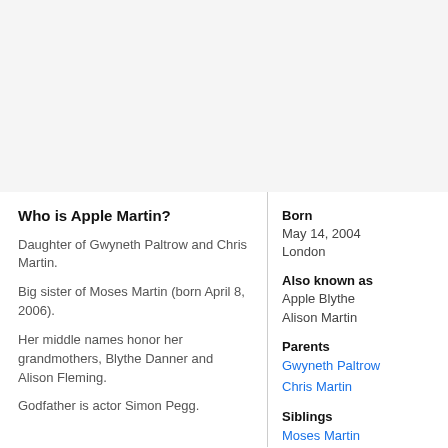Who is Apple Martin?
Daughter of Gwyneth Paltrow and Chris Martin.
Big sister of Moses Martin (born April 8, 2006).
Her middle names honor her grandmothers, Blythe Danner and Alison Fleming.
Godfather is actor Simon Pegg.
Born
May 14, 2004
London
Also known as
Apple Blythe Alison Martin
Parents
Gwyneth Paltrow
Chris Martin
Siblings
Moses Martin